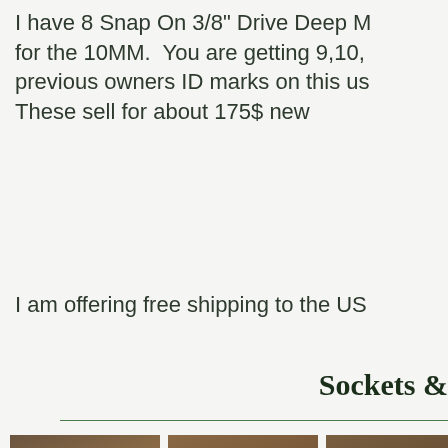I have 8 Snap On 3/8" Drive Deep M for the 10MM. You are getting 9,10, previous owners ID marks on this us These sell for about 175$ new
I am offering free shipping to the US
Sockets &
[Figure (photo): Three photos of snap-on sockets on a brown surface]
[Figure (photo): Second photo of sockets on brown surface]
[Figure (photo): Third photo of socket on brown surface]